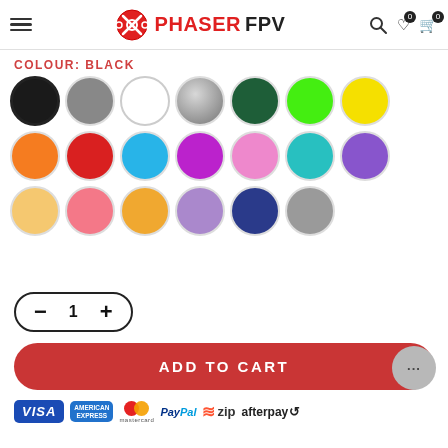PHASER FPV
COLOUR: BLACK
[Figure (other): Color swatch selector showing 20 color circles in 3 rows: Row 1: black (selected), gray, white, silver, dark green, lime green, yellow. Row 2: orange, red, cyan, magenta, pink, teal, purple. Row 3: peach/light orange, salmon/light pink, gold/amber, lavender, navy blue, mid gray.]
1
ADD TO CART
[Figure (infographic): Payment method logos: VISA, AMERICAN EXPRESS, mastercard, PayPal, zip, afterpay]